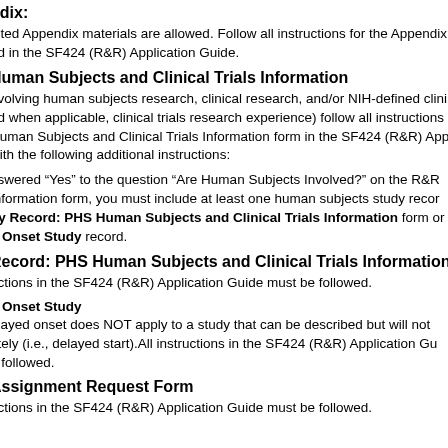ndix:
nited Appendix materials are allowed. Follow all instructions for the Appendix ed in the SF424 (R&R) Application Guide.
Human Subjects and Clinical Trials Information
nvolving human subjects research, clinical research, and/or NIH-defined clini nd when applicable, clinical trials research experience) follow all instructions Human Subjects and Clinical Trials Information form in the SF424 (R&R) Applic with the following additional instructions:
nswered “Yes” to the question “Are Human Subjects Involved?” on the R&R Other Information form, you must include at least one human subjects study record dy Record: PHS Human Subjects and Clinical Trials Information form or d Onset Study record.
Record: PHS Human Subjects and Clinical Trials Information
uctions in the SF424 (R&R) Application Guide must be followed.
d Onset Study
elayed onset does NOT apply to a study that can be described but will not ately (i.e., delayed start).All instructions in the SF424 (R&R) Application Gu e followed.
Assignment Request Form
uctions in the SF424 (R&R) Application Guide must be followed.